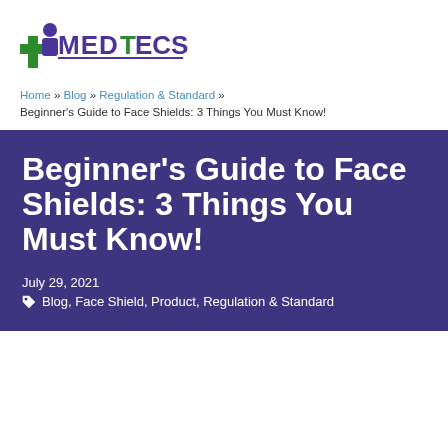[Figure (logo): MEDTECS company logo with green cross and purple figure icon, text MEDTECS with green T]
Home » Blog » Regulation & Standard » Beginner's Guide to Face Shields: 3 Things You Must Know!
Beginner's Guide to Face Shields: 3 Things You Must Know!
July 29, 2021
Blog, Face Shield, Product, Regulation & Standard